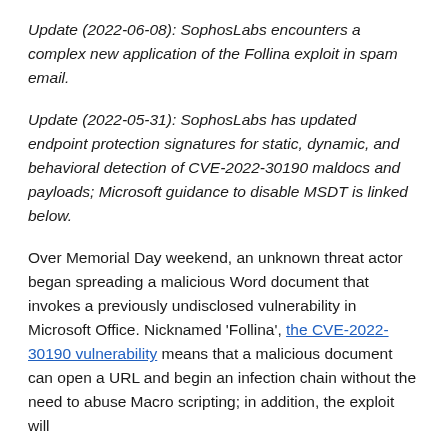Update (2022-06-08): SophosLabs encounters a complex new application of the Follina exploit in spam email.
Update (2022-05-31): SophosLabs has updated endpoint protection signatures for static, dynamic, and behavioral detection of CVE-2022-30190 maldocs and payloads; Microsoft guidance to disable MSDT is linked below.
Over Memorial Day weekend, an unknown threat actor began spreading a malicious Word document that invokes a previously undisclosed vulnerability in Microsoft Office. Nicknamed 'Follina', the CVE-2022-30190 vulnerability means that a malicious document can open a URL and begin an infection chain without the need to abuse Macro scripting; in addition, the exploit will